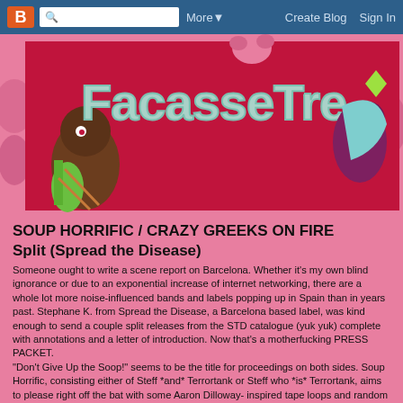B | [search] Q  More▼   Create Blog  Sign In
[Figure (illustration): Colorful blog banner with bubbly cartoon lettering reading 'FacasseTre' on a red background with illustrated characters including animals and abstract shapes on a pink background.]
SOUP HORRIFIC / CRAZY GREEKS ON FIRE
Split (Spread the Disease)
Someone ought to write a scene report on Barcelona. Whether it's my own blind ignorance or due to an exponential increase of internet networking, there are a whole lot more noise-influenced bands and labels popping up in Spain than in years past. Stephane K. from Spread the Disease, a Barcelona based label, was kind enough to send a couple split releases from the STD catalogue (yuk yuk) complete with annotations and a letter of introduction. Now that's a motherfucking PRESS PACKET.
"Don't Give Up the Soop!" seems to be the title for proceedings on both sides. Soup Horrific, consisting either of Steff *and* Terrortank or Steff who *is* Terrortank, aims to please right off the bat with some Aaron Dilloway- inspired tape loops and random chain dragging, submerging all in forebodingly thick atmospheres. There's also kind of a "hands-off" approach to probably half of this session which the Fag Tapes…